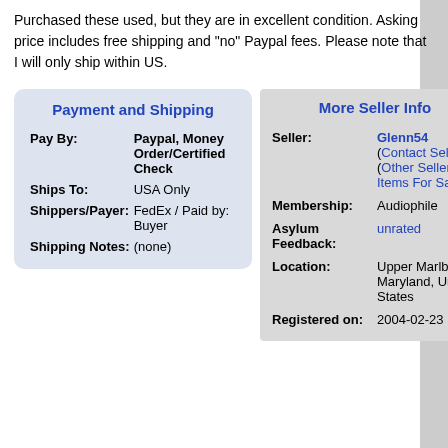Purchased these used, but they are in excellent condition. Asking price includes free shipping and "no" Paypal fees. Please note that I will only ship within US.
| Payment and Shipping |  |
| --- | --- |
| Pay By: | Paypal, Money Order/Certified Check |
| Ships To: | USA Only |
| Shippers/Payer: | FedEx / Paid by: Buyer |
| Shipping Notes: | (none) |
| More Seller Info |  |
| --- | --- |
| Seller: | Glenn54 (Contact Seller) (Other Seller Items For Sale) |
| Membership: | Audiophile |
| Asylum Feedback: | unrated |
| Location: | Upper Marlboro, Maryland, United States |
| Registered on: | 2004-02-23 |